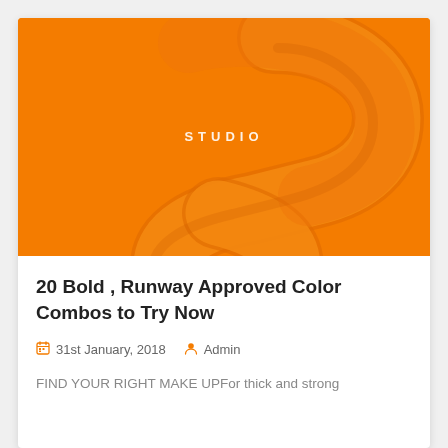[Figure (illustration): Orange background with a large stylized 3D letter S shape and the word STUDIO in white spaced letters centered in the middle]
20 Bold , Runway Approved Color Combos to Try Now
31st January, 2018   Admin
FIND YOUR RIGHT MAKE UPFor thick and strong